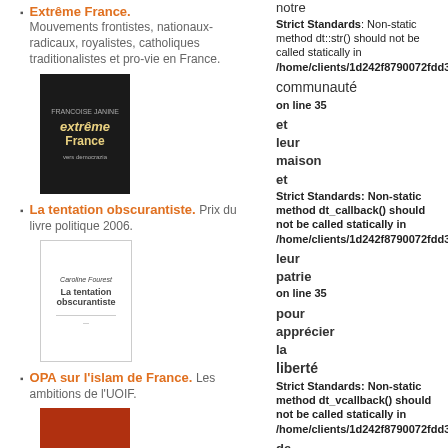Extrême France. Mouvements frontistes, nationaux-radicaux, royalistes, catholiques traditionalistes et pro-vie en France.
[Figure (photo): Book cover: Extrême France, dark background with horse image]
La tentation obscurantiste. Prix du livre politique 2006.
[Figure (photo): Book cover: La tentation obscurantiste, white cover]
OPA sur l'islam de France. Les ambitions de l'UOIF.
[Figure (photo): Book cover: OPA sur l'islam de France, red cover]
L'effroyable imposteur.
notre communauté et leur maison et leur patrie pour apprécier la liberté de vivre leurs croyances dans leur pays chrétien
Strict Standards: Non-static method dt::str() should not be called statically in /home/clients/1d242f8790072fdd395d on line 76
Strict Standards: Non-static method dt_vcallback() should not be called statically in /home/clients/1d242f8790072fdd395d on line 35
Strict Standards: Non-static method dt_vcallback() should not be called statically in /home/clients/1d242f8790072fdd395d on line 35
Strict Standards: Non-static method dt::str() should not be called statically in /home/clients/1d242f8790072fdd395d on line 76
Strict Standards: Non-static method dt::str() should not be called statically in /home/clients/1d242f8790072fdd395d on line 35
Strict Standards: Non-static method